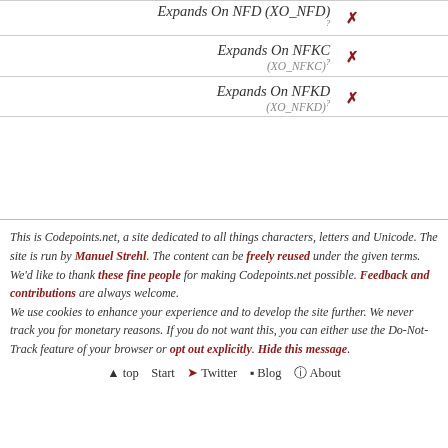| Property | Value |
| --- | --- |
| Expands On NFD (XO_NFD) | ✗ |
| Expands On NFKC (XO_NFKC) | ✗ |
| Expands On NFKD (XO_NFKD) | ✗ |
This is Codepoints.net, a site dedicated to all things characters, letters and Unicode. The site is run by Manuel Strehl. The content can be freely reused under the given terms. We'd like to thank these fine people for making Codepoints.net possible. Feedback and contributions are always welcome. We use cookies to enhance your experience and to develop the site further. We never track you for monetary reasons. If you do not want this, you can either use the Do-Not-Track feature of your browser or opt out explicitly. Hide this message.
▲ top   Start   ➤ Twitter   ▪ Blog   ℹ About